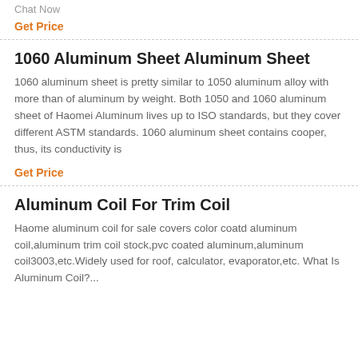Chat Now
Get Price
1060 Aluminum Sheet Aluminum Sheet
1060 aluminum sheet is pretty similar to 1050 aluminum alloy with more than of aluminum by weight. Both 1050 and 1060 aluminum sheet of Haomei Aluminum lives up to ISO standards, but they cover different ASTM standards. 1060 aluminum sheet contains cooper, thus, its conductivity is
Get Price
Aluminum Coil For Trim Coil
Haome aluminum coil for sale covers color coatd aluminum coil,aluminum trim coil stock,pvc coated aluminum,aluminum coil3003,etc.Widely used for roof, calculator, evaporator,etc. What Is Aluminum Coil?...